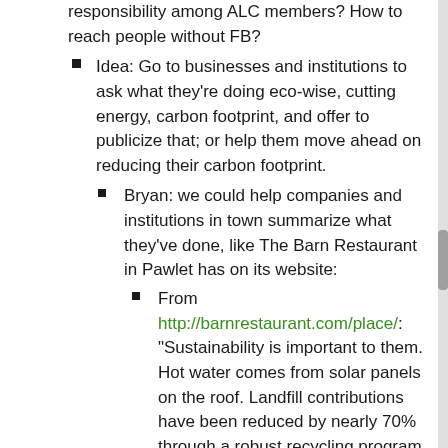responsibility among ALC members? How to reach people without FB?
Idea: Go to businesses and institutions to ask what they're doing eco-wise, cutting energy, carbon footprint, and offer to publicize that; or help them move ahead on reducing their carbon footprint.
Bryan: we could help companies and institutions in town summarize what they've done, like The Barn Restaurant in Pawlet has on its website:
From http://barnrestaurant.com/place/: “Sustainability is important to them. Hot water comes from solar panels on the roof. Landfill contributions have been reduced by nearly 70% through a robust recycling program, and using all leftover food to feed the...